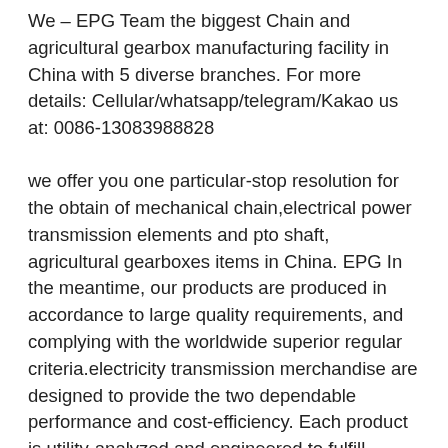We – EPG Team the biggest Chain and agricultural gearbox manufacturing facility in China with 5 diverse branches. For more details: Cellular/whatsapp/telegram/Kakao us at: 0086-13083988828
we offer you one particular-stop resolution for the obtain of mechanical chain,electrical power transmission elements and pto shaft, agricultural gearboxes items in China. EPG In the meantime, our products are produced in accordance to large quality requirements, and complying with the worldwide superior regular criteria.electricity transmission merchandise are designed to provide the two dependable performance and cost-efficiency. Each product is utility-analyzed and engineered to fulfill stringent specifications for uniformity in dimension, heat therapy, tensile power and other essential qualities. As a price-successful substitute developed especially for standard-obligation use, EPG's growing line of items are accessible in all frequently requested measurements and specs, like ball bearings, mounted models, roller chain, seals,